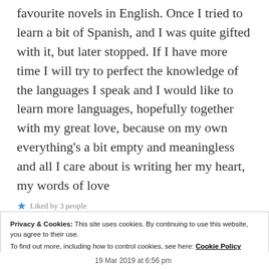favourite novels in English. Once I tried to learn a bit of Spanish, and I was quite gifted with it, but later stopped. If I have more time I will try to perfect the knowledge of the languages I speak and I would like to learn more languages, hopefully together with my great love, because on my own everything's a bit empty and meaningless and all I care about is writing her my heart, my words of love
Liked by 3 people
Privacy & Cookies: This site uses cookies. By continuing to use this website, you agree to their use. To find out more, including how to control cookies, see here: Cookie Policy
Close and accept
19 Mar 2019 at 6:56 pm